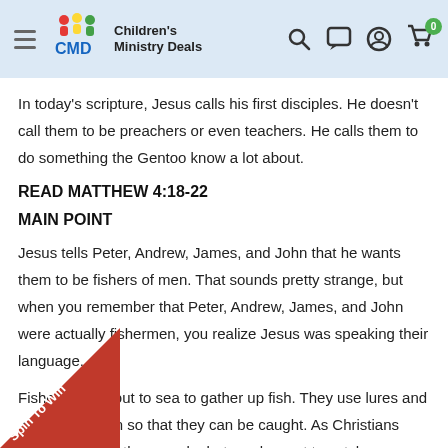Children's Ministry Deals
In today's scripture, Jesus calls his first disciples. He doesn't call them to be preachers or even teachers. He calls them to do something the Gentoo know a lot about.
READ MATTHEW 4:18-22
MAIN POINT
Jesus tells Peter, Andrew, James, and John that he wants them to be fishers of men. That sounds pretty strange, but when you remember that Peter, Andrew, James, and John were actually fishermen, you realize Jesus was speaking their language.
Fishermen go out to sea to gather up fish. They use lures and to draw the fish in so that they can be caught. As Christians want to catch other people, but we do want to catch